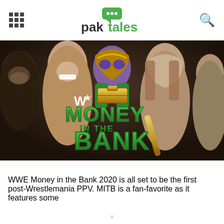paktales
[Figure (photo): WWE Money in the Bank 2020 promotional image showing several wrestlers including one wearing a gold and purple mask, with the WWE Money in the Bank logo in green and gold lettering in the center]
WWE Money in the Bank 2020 is all set to be the first post-Wrestlemania PPV. MITB is a fan-favorite as it features some